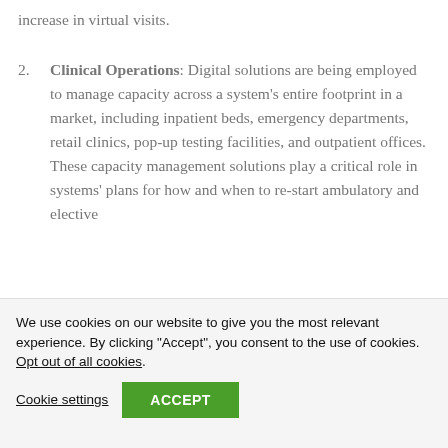increase in virtual visits.
Clinical Operations: Digital solutions are being employed to manage capacity across a system's entire footprint in a market, including inpatient beds, emergency departments, retail clinics, pop-up testing facilities, and outpatient offices. These capacity management solutions play a critical role in systems' plans for how and when to re-start ambulatory and elective
We use cookies on our website to give you the most relevant experience. By clicking "Accept", you consent to the use of cookies. Opt out of all cookies.